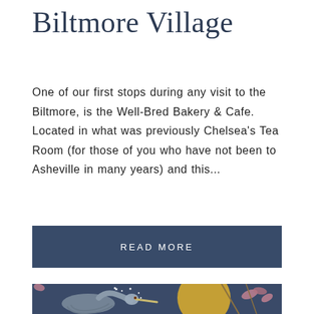Biltmore Village
One of our first stops during any visit to the Biltmore, is the Well-Bred Bakery & Cafe. Located in what was previously Chelsea's Tea Room (for those of you who have not been to Asheville in many years) and this...
READ MORE
[Figure (illustration): Artistic illustration of a heron bird facing right with a large golden moon in the background, stars scattered in the dark blue sky, and pink lotus flowers on the right side.]